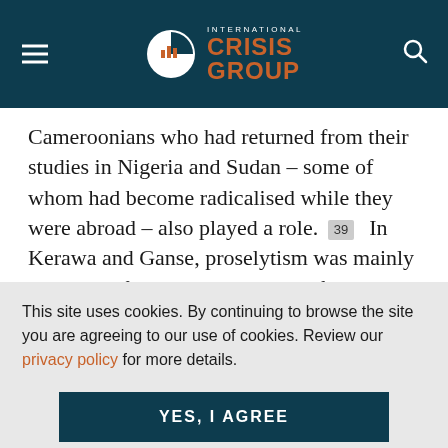International Crisis Group
Cameroonians who had returned from their studies in Nigeria and Sudan – some of whom had become radicalised while they were abroad – also played a role. [39] In Kerawa and Ganse, proselytism was mainly the work of young men returned from Bama in Nigeria who, during teaching sessions, called on their friends to reject Western education, the
This site uses cookies. By continuing to browse the site you are agreeing to our use of cookies. Review our privacy policy for more details.
YES, I AGREE